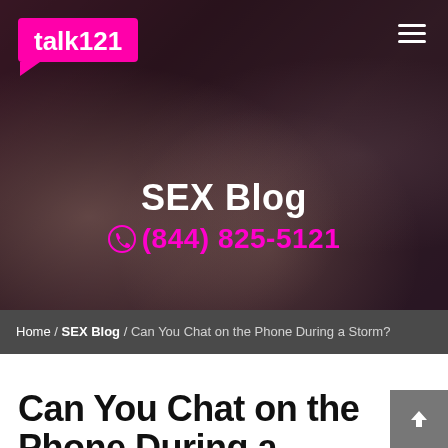[Figure (screenshot): Hero banner image with dark overlay showing a person holding a phone, used as background for talk121 SEX Blog header]
talk121
SEX Blog
(844) 825-5121
Home / SEX Blog / Can You Chat on the Phone During a Storm?
Can You Chat on the Phone During a Storm?